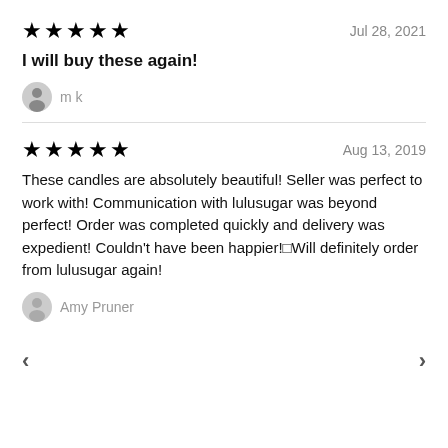★★★★★   Jul 28, 2021
I will buy these again!
[Figure (illustration): Generic user avatar icon (gray silhouette)]
m k
★★★★★   Aug 13, 2019
These candles are absolutely beautiful! Seller was perfect to work with! Communication with lulusugar was beyond perfect! Order was completed quickly and delivery was expedient! Couldn't have been happier!□Will definitely order from lulusugar again!
[Figure (illustration): Generic user avatar icon (gray silhouette)]
Amy Pruner
< >